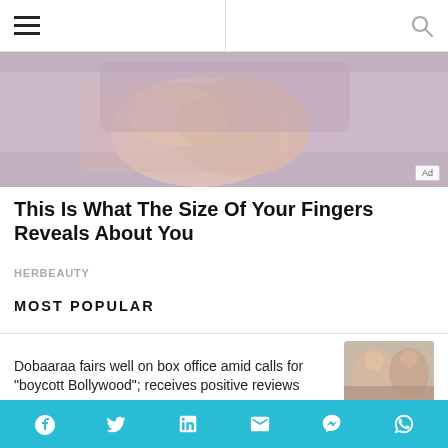Navigation bar with hamburger menu and search icon
[Figure (photo): Close-up photo of hands clasped together, person wearing purple/mauve long-sleeved top, with an Ad badge in lower right corner]
This Is What The Size Of Your Fingers Reveals About You
HERBEAUTY
MOST POPULAR
Dobaaraa fairs well on box office amid calls for "boycott Bollywood"; receives positive reviews
[Figure (photo): Thumbnail photo of two people laughing]
Krushna Abhishek quits "The Kapil Sharma Show" new season; cites
[Figure (photo): Thumbnail photo from The Kapil Sharma Show]
Social sharing bar with Facebook, Twitter, LinkedIn, Email, Messenger, WhatsApp icons